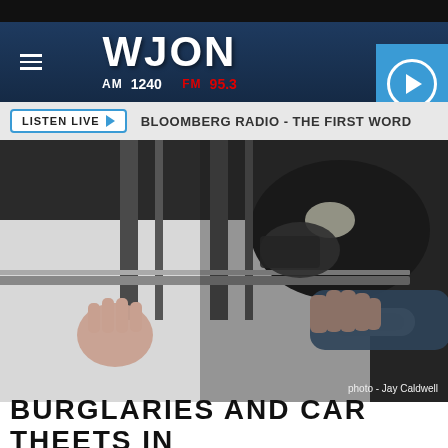[Figure (logo): WJON AM 1240 FM 95.3 radio station header with hamburger menu and play button]
LISTEN LIVE ► BLOOMBERG RADIO - THE FIRST WORD
[Figure (photo): Person's hands reaching for a white car door handle, attempting to break into the vehicle. Photo credit: Jay Caldwell]
photo - Jay Caldwell
BURGLARIES AND CAR THEETS IN